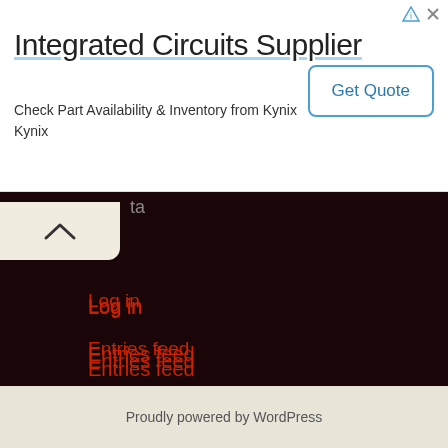[Figure (screenshot): Advertisement banner for Integrated Circuits Supplier from Kynix with a Get Quote button]
Log in
Entries feed
Comments feed
WordPress.org
Proudly powered by WordPress